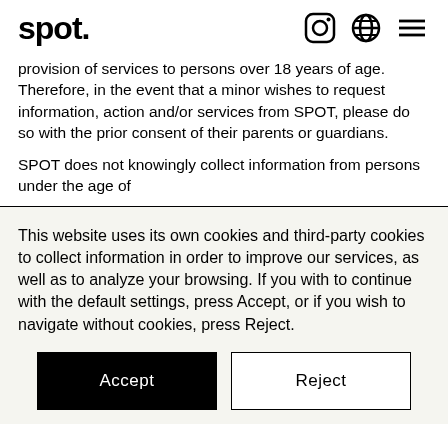spot.
provision of services to persons over 18 years of age. Therefore, in the event that a minor wishes to request information, action and/or services from SPOT, please do so with the prior consent of their parents or guardians.

SPOT does not knowingly collect information from persons under the age of
This website uses its own cookies and third-party cookies to collect information in order to improve our services, as well as to analyze your browsing. If you with to continue with the default settings, press Accept, or if you wish to navigate without cookies, press Reject.